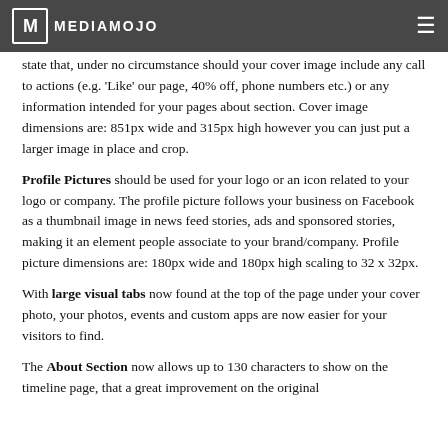MEDIAMOJO
state that, under no circumstance should your cover image include any call to actions (e.g. 'Like' our page, 40% off, phone numbers etc.) or any information intended for your pages about section. Cover image dimensions are: 851px wide and 315px high however you can just put a larger image in place and crop.
Profile Pictures should be used for your logo or an icon related to your logo or company. The profile picture follows your business on Facebook as a thumbnail image in news feed stories, ads and sponsored stories, making it an element people associate to your brand/company. Profile picture dimensions are: 180px wide and 180px high scaling to 32 x 32px.
With large visual tabs now found at the top of the page under your cover photo, your photos, events and custom apps are now easier for your visitors to find.
The About Section now allows up to 130 characters to show on the timeline page, that a great improvement on the original